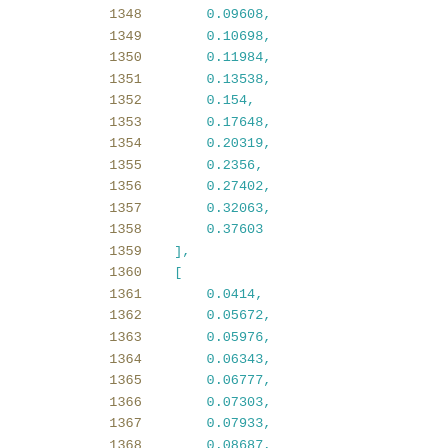Code listing showing array data with line numbers 1348-1368, containing numeric float values and array bracket syntax.